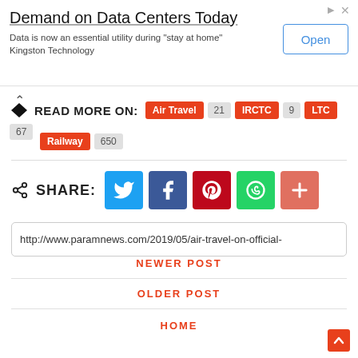[Figure (other): Advertisement banner: 'Demand on Data Centers Today' by Kingston Technology with Open button]
READ MORE ON: Air Travel 21 IRCTC 9 LTC 67 Railway 650
SHARE:
[Figure (other): Social share buttons: Twitter, Facebook, Pinterest, WhatsApp, More]
http://www.paramnews.com/2019/05/air-travel-on-official-
NEWER POST
OLDER POST
HOME